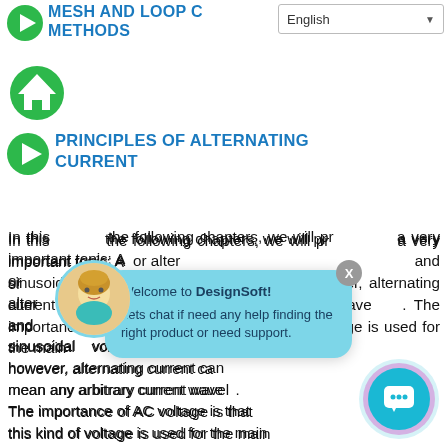MESH AND LOOP CURRENT METHODS
[Figure (illustration): Home icon - green circular button with house symbol]
PRINCIPLES OF ALTERNATING CURRENT
In this and the following chapters, we will present a very important topic: AC or alternating current. The term alternating and the most common type of it implies sinusoidal voltages and currents; however, alternating current can also mean any arbitrary current waveform. The importance of AC voltage is that this kind of voltage is used for the main
[Figure (screenshot): Chat popup overlay from DesignSoft with avatar and message: Welcome to DesignSoft! Lets chat if need any help finding the right product or need support.]